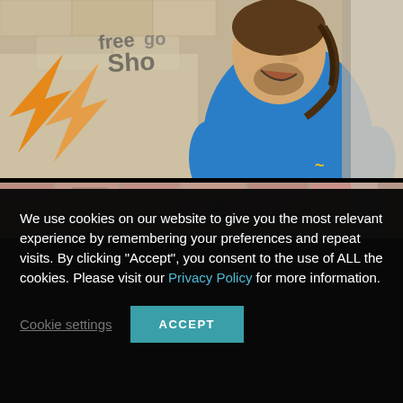[Figure (photo): Photo of a laughing man with dark hair tied back, wearing a blue t-shirt with a yellow logo, standing in front of a graffiti-covered stone wall with orange arrow graffiti visible on the left.]
[Figure (photo): Partial photo showing a weathered red and white brick wall background.]
We use cookies on our website to give you the most relevant experience by remembering your preferences and repeat visits. By clicking "Accept", you consent to the use of ALL the cookies. Please visit our Privacy Policy for more information.
Cookie settings
ACCEPT